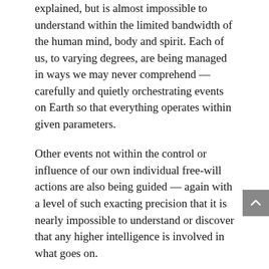explained, but is almost impossible to understand within the limited bandwidth of the human mind, body and spirit. Each of us, to varying degrees, are being managed in ways we may never comprehend — carefully and quietly orchestrating events on Earth so that everything operates within given parameters.
Other events not within the control or influence of our own individual free-will actions are also being guided — again with a level of such exacting precision that it is nearly impossible to understand or discover that any higher intelligence is involved in what goes on.
This is why, for example, the Yellowstone super-caldera volcano has not erupted, California has not sunk into the ocean, and the Sun has not destroyed our electrical grid in a coronal mass ejection.
Management.
Why do you think UFOs have often been seen over nuclear missile silos, powering down the whole complex before zipping away? Why was a UFO seen over Chernobyl when the